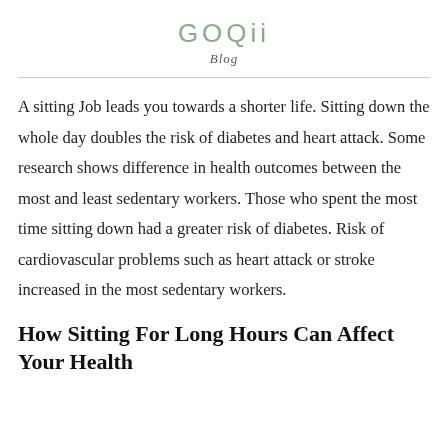GOQii
Blog
A sitting Job leads you towards a shorter life. Sitting down the whole day doubles the risk of diabetes and heart attack. Some research shows difference in health outcomes between the most and least sedentary workers. Those who spent the most time sitting down had a greater risk of diabetes. Risk of cardiovascular problems such as heart attack or stroke increased in the most sedentary workers.
How Sitting For Long Hours Can Affect Your Health